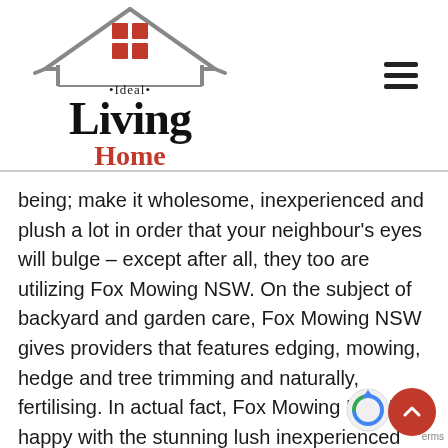[Figure (logo): Ideal Living Home logo with house SVG graphic and text]
being; make it wholesome, inexperienced and plush a lot in order that your neighbour's eyes will bulge – except after all, they too are utilizing Fox Mowing NSW. On the subject of backyard and garden care, Fox Mowing NSW gives providers that features edging, mowing, hedge and tree trimming and naturally, fertilising. In actual fact, Fox Mowing NSW is happy with the stunning lush inexperienced lawns below their care and supervision in all of NSW area. Contact them right this moment to revive your garden's well being and lustre. An